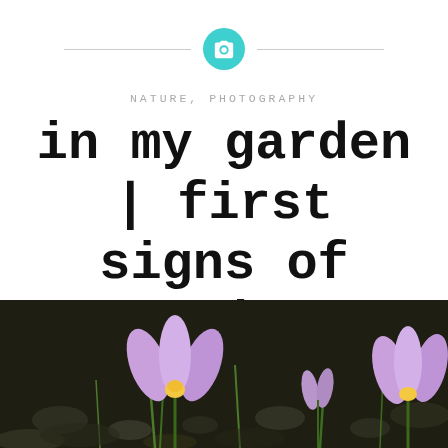[Figure (illustration): Teal camera icon in a teal circle, centered on a horizontal divider line, used as a decorative blog header element]
NATURE, PHOTOGRAPHY
in my garden | first signs of spring
FEBRUARY 24, 2018
[Figure (photo): Close-up photograph of purple crocus flowers with yellow centers blooming on dark rocky ground with green grass shoots, taken in early spring]